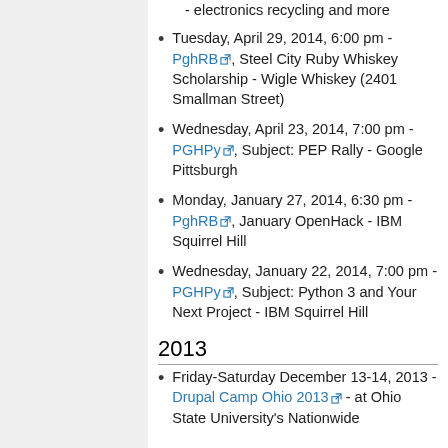- electronics recycling and more
Tuesday, April 29, 2014, 6:00 pm - PghRB, Steel City Ruby Whiskey Scholarship - Wigle Whiskey (2401 Smallman Street)
Wednesday, April 23, 2014, 7:00 pm - PGHPy, Subject: PEP Rally - Google Pittsburgh
Monday, January 27, 2014, 6:30 pm - PghRB, January OpenHack - IBM Squirrel Hill
Wednesday, January 22, 2014, 7:00 pm - PGHPy, Subject: Python 3 and Your Next Project - IBM Squirrel Hill
2013
Friday-Saturday December 13-14, 2013 - Drupal Camp Ohio 2013 - at Ohio State University's Nationwide